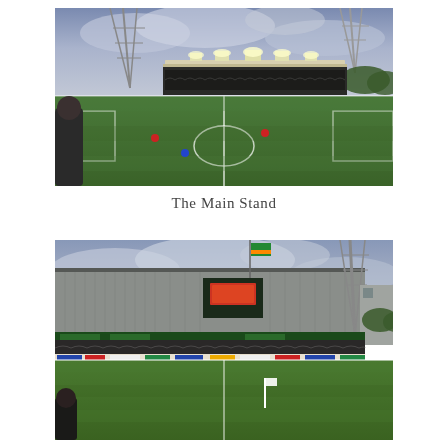[Figure (photo): A football ground photographed at dusk, showing a main stand with floodlights illuminated, players on the green pitch, and transmission towers visible in the background under a cloudy sky. Viewed from the far end of the pitch.]
The Main Stand
[Figure (photo): A football ground photographed at dusk showing a large stand with a grey corrugated metal exterior, green sponsor boards, a scoreboard/LED display in the centre, a flag flying, crowds of spectators lining the stand, advertisement hoardings along the bottom, and a corner flag on the pitch in the foreground.]